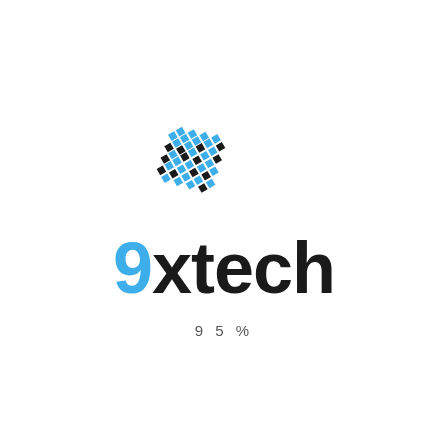[Figure (logo): 9xtech logo: a diamond-shaped pixel grid pattern made of blue and black squares, rotated roughly 30 degrees, above the text '9xtech']
9 5 %